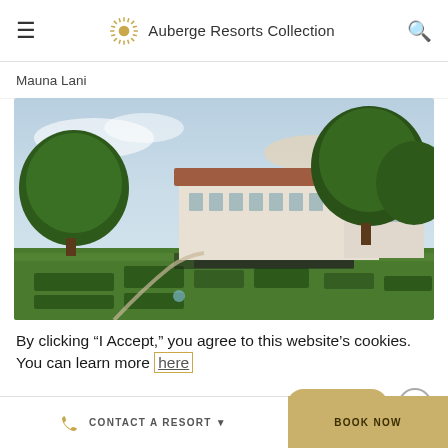Auberge Resorts Collection
Mauna Lani
[Figure (photo): Exterior view of a grand white resort building with red-tiled roof surrounded by manicured gardens with geometric hedges, fountains, and large mature trees under a partly cloudy sky.]
By clicking “I Accept,” you agree to this website’s cookies. You can learn more here
Cookie Settings
✓ I Accept
CONTACT A RESORT ▾  BOOK NOW